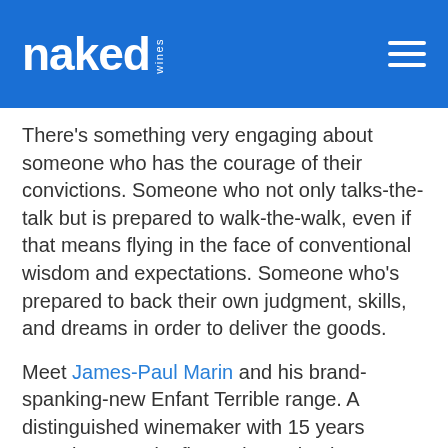naked wines
There's something very engaging about someone who has the courage of their convictions. Someone who not only talks-the-talk but is prepared to walk-the-walk, even if that means flying in the face of conventional wisdom and expectations. Someone who's prepared to back their own judgment, skills, and dreams in order to deliver the goods.
Meet James-Paul Marin and his brand-spanking-new Enfant Terrible range. A distinguished winemaker with 15 years experience and a fierce determination to make the world a better place – one wine and one tree at a time.
Our paths crossed late last year when